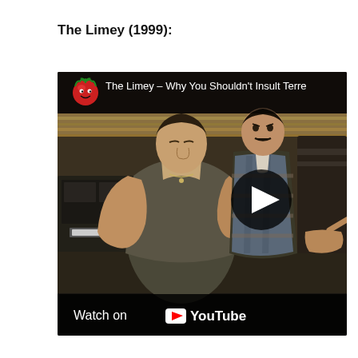The Limey (1999):
[Figure (screenshot): YouTube video thumbnail/embed for 'The Limey – Why You Shouldn't Insult Terre...' showing three men in a scene from the 1999 film. A muscular man in a tank top is in the foreground, two other men in plaid and dark jacket are behind him. A play button is overlaid in the center-right. Bottom bar shows 'Watch on YouTube' with the YouTube logo. Top bar shows the Rotten Tomatoes tomato icon and the video title.]